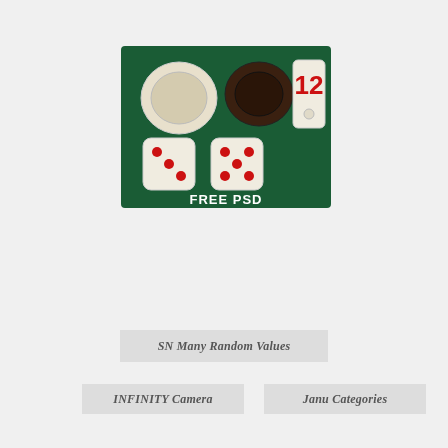[Figure (photo): A dark green board game surface showing: a white checker piece, a dark brown checker piece, a white tile with the number 12 in red and a small white dot below it, two white dice with red dots (showing 3 and 5), and white text at the bottom reading FREE PSD.]
SN Many Random Values
INFINITY Camera
Janu Categories